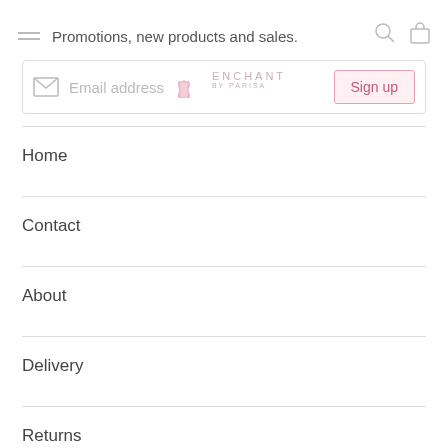Promotions, new products and sales.
Email address
Sign up
Home
Contact
About
Delivery
Returns
Blog